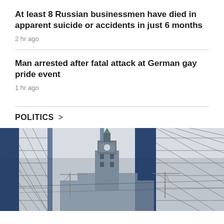At least 8 Russian businessmen have died in apparent suicide or accidents in just 6 months
2 hr ago
Man arrested after fatal attack at German gay pride event
1 hr ago
POLITICS >
[Figure (photo): Photo of the Canadian Parliament Peace Tower viewed through blue construction scaffolding poles and wire mesh fencing, with cranes visible in the background against a light sky.]